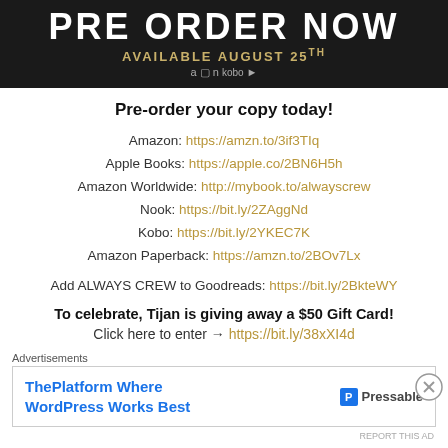[Figure (illustration): Book pre-order banner with dark background, large bold white text 'PRE ORDER NOW', gold subtitle 'AVAILABLE AUGUST 25TH', and retailer icons (Amazon, Nook, Kobo)]
Pre-order your copy today!
Amazon: https://amzn.to/3if3TIq
Apple Books: https://apple.co/2BN6H5h
Amazon Worldwide: http://mybook.to/alwayscrew
Nook: https://bit.ly/2ZAggNd
Kobo: https://bit.ly/2YKEC7K
Amazon Paperback: https://amzn.to/2BOv7Lx
Add ALWAYS CREW to Goodreads: https://bit.ly/2BkteWY
To celebrate, Tijan is giving away a $50 Gift Card!
Click here to enter → https://bit.ly/38xXI4d
Advertisements
[Figure (advertisement): Pressable ad: ThePlatform Where WordPress Works Best with Pressable logo]